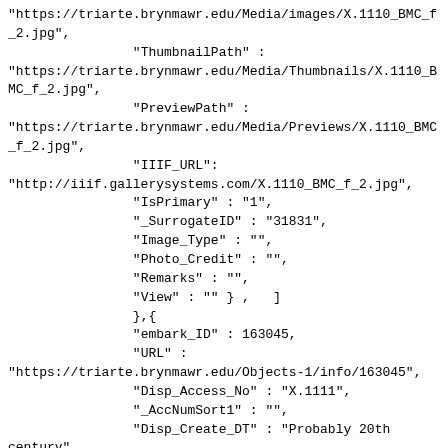"https://triarte.brynmawr.edu/Media/images/X.1110_BMC_f_2.jpg",
                "ThumbnailPath" :
"https://triarte.brynmawr.edu/Media/Thumbnails/X.1110_BMC_f_2.jpg",
                "PreviewPath" :
"https://triarte.brynmawr.edu/Media/Previews/X.1110_BMC_f_2.jpg",
                "IIIF_URL":
"http://iiif.gallerysystems.com/X.1110_BMC_f_2.jpg",
                "IsPrimary" : "1",
                "_SurrogateID" : "31831",
                "Image_Type" : "",
                "Photo_Credit" : "",
                "Remarks" : "",
                "View" : "" } ,   ]
                },{
                "embark_ID" : 163045,
                "URL" :
"https://triarte.brynmawr.edu/Objects-1/info/163045",
                "Disp_Access_No" : "X.1111",
                "_AccNumSort1" : "",
                "Disp_Create_DT" : "Probably 20th century",
                "_Disp_Start_Dat" : "1900",
                "_Disp_End_Date" : "1999",
                "Disp_Title" : "No. 4 from the series Women Engaged in the Sericulture Industry (Joshoku kaiko tewaza-gusa)",
                "Alt_Title" : "",